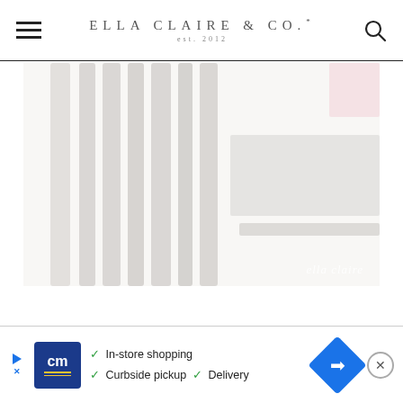ELLA CLAIRE & Co. est. 2012
[Figure (photo): Close-up photo of white painted wooden furniture slats (likely a crib or chair back), highly overexposed/light, with a hint of pink item in upper right. Watermark 'ella claire' in bottom right.]
[Figure (infographic): Advertisement banner for CM (likely Curbside Market or similar): blue logo with 'cm' text and yellow lines, checkmarks listing 'In-store shopping', 'Curbside pickup', 'Delivery', blue diamond navigation arrow, and X close button.]